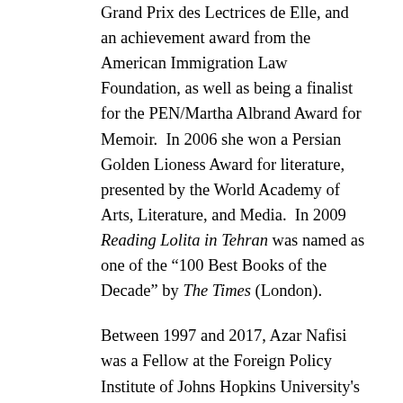Grand Prix des Lectrices de Elle, and an achievement award from the American Immigration Law Foundation, as well as being a finalist for the PEN/Martha Albrand Award for Memoir.  In 2006 she won a Persian Golden Lioness Award for literature, presented by the World Academy of Arts, Literature, and Media.  In 2009 Reading Lolita in Tehran was named as one of the “100 Best Books of the Decade” by The Times (London).
Between 1997 and 2017, Azar Nafisi was a Fellow at the Foreign Policy Institute of Johns Hopkins University's School of Advanced International Studies (SAIS) in Washington, DC, where she was a professor of aesthetics, culture, and literature, and taught courses on the relation between culture and politics, she was also Director of The Dialogue Project & Cultural Conversations. She studied in the US in the 1970s and earned her Ph.D. at University of Oklahoma.  She returned to Iran and taught at the